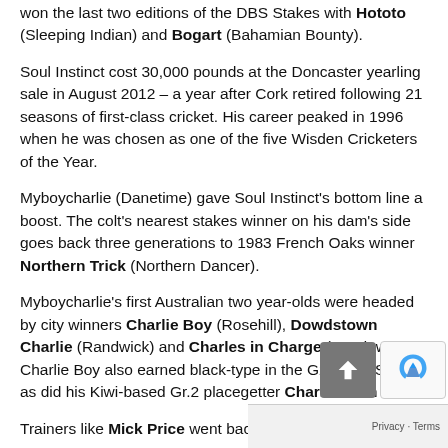won the last two editions of the DBS Stakes with Hototo (Sleeping Indian) and Bogart (Bahamian Bounty).
Soul Instinct cost 30,000 pounds at the Doncaster yearling sale in August 2012 – a year after Cork retired following 21 seasons of first-class cricket.  His career peaked in 1996 when he was chosen as one of the five Wisden Cricketers of the Year.
Myboycharlie (Danetime) gave Soul Instinct's bottom line a boost.  The colt's nearest stakes winner on his dam's side goes back three generations to 1983 French Oaks winner Northern Trick (Northern Dancer).
Myboycharlie's first Australian two year-olds were headed by city winners Charlie Boy (Rosehill), Dowdstown Charlie (Randwick) and Charles in Charge (Sandown).  Charlie Boy also earned black-type in the G2 Silver Slipper as did his Kiwi-based Gr.2 placegetter Charlestown in NZ.
Trainers like Mick Price went back for more when 4 of his